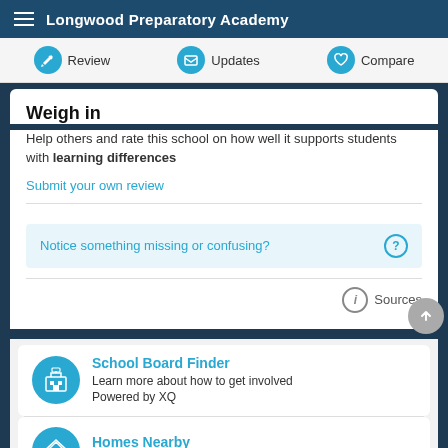Longwood Preparatory Academy
Review | Updates | Compare
Weigh in
Help others and rate this school on how well it supports students with learning differences
Submit your own review
Notice something missing or confusing?
Sources
School Board Finder
Learn more about how to get involved
Powered by XQ
Homes Nearby
Homes for rent & sale near this school